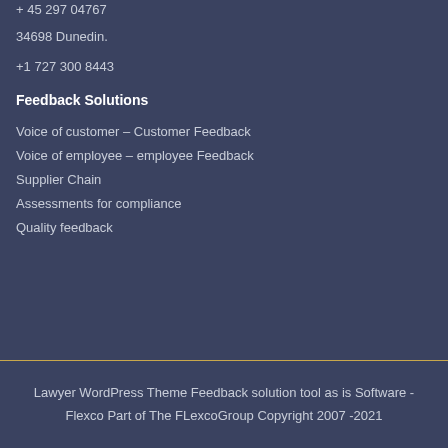+ 45 297 04767
34698 Dunedin.
+1 727 300 8443
Feedback Solutions
Voice of customer – Customer Feedback
Voice of employee – employee Feedback
Supplier Chain
Assessments for compliance
Quality feedback
Lawyer WordPress Theme Feedback solution tool as is Software - Flexco Part of The FLexcoGroup Copyright 2007 -2021